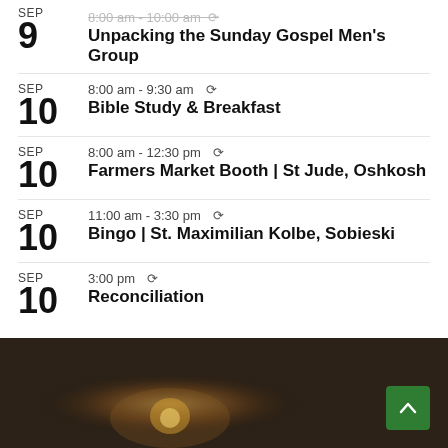SEP 9 — Unpacking the Sunday Gospel Men's Group
SEP 10 — 8:00 am - 9:30 am — Bible Study & Breakfast
SEP 10 — 8:00 am - 12:30 pm — Farmers Market Booth | St Jude, Oshkosh
SEP 10 — 11:00 am - 3:30 pm — Bingo | St. Maximilian Kolbe, Sobieski
SEP 10 — 3:00 pm — Reconciliation
[Figure (photo): Dark background image at bottom of page, partially visible, with a blurred brownish warm-toned scene.]